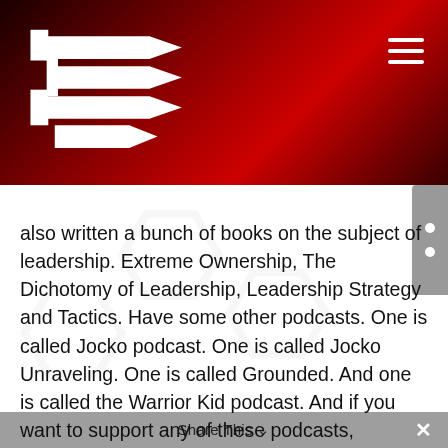[Figure (logo): EF logo with arrow design in white on dark red/black gradient header background, with hamburger menu icon top right]
also written a bunch of books on the subject of leadership. Extreme Ownership, The Dichotomy of Leadership, Leadership Strategy and Tactics. Have some other podcasts. One is called Jocko podcast. One is called Jocko Unraveling. One is called Grounded. And one is called the Warrior Kid podcast. And if you want to support any of these podcasts, including this one, you can get some gear from Jocko store, or from Origin Maine, or from Jockofuel.com. Thanks for listening to us debrief. Now go lead. This is Dave
Share This ∨    ×